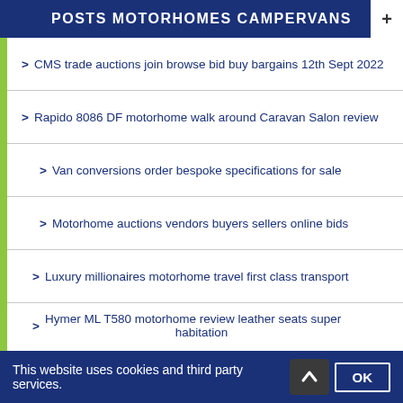POSTS MOTORHOMES CAMPERVANS
CMS trade auctions join browse bid buy bargains 12th Sept 2022
Rapido 8086 DF motorhome walk around Caravan Salon review
Van conversions order bespoke specifications for sale
Motorhome auctions vendors buyers sellers online bids
Luxury millionaires motorhome travel first class transport
Hymer ML T580 motorhome review leather seats super habitation
Hulk lookalike motorhome format outstanding designs
Million pounds motorhomes RV recreational leisure vehicles
This website uses cookies and third party services.